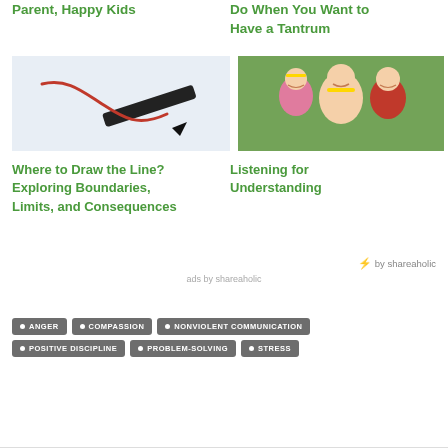Parent, Happy Kids
Do When You Want to Have a Tantrum
[Figure (photo): A black pen/marker with a red curved line drawn on white paper]
[Figure (photo): A smiling woman with two children — a girl wearing glasses and a boy — outdoors with green foliage in background]
Where to Draw the Line? Exploring Boundaries, Limits, and Consequences
Listening for Understanding
by shareaholic
ads by shareaholic
ANGER
COMPASSION
NONVIOLENT COMMUNICATION
POSITIVE DISCIPLINE
PROBLEM-SOLVING
STRESS